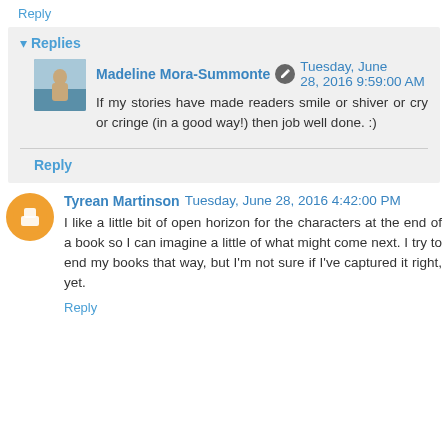Reply
▾ Replies
Madeline Mora-Summonte ✎ Tuesday, June 28, 2016 9:59:00 AM
If my stories have made readers smile or shiver or cry or cringe (in a good way!) then job well done. :)
Reply
Tyrean Martinson Tuesday, June 28, 2016 4:42:00 PM
I like a little bit of open horizon for the characters at the end of a book so I can imagine a little of what might come next. I try to end my books that way, but I'm not sure if I've captured it right, yet.
Reply